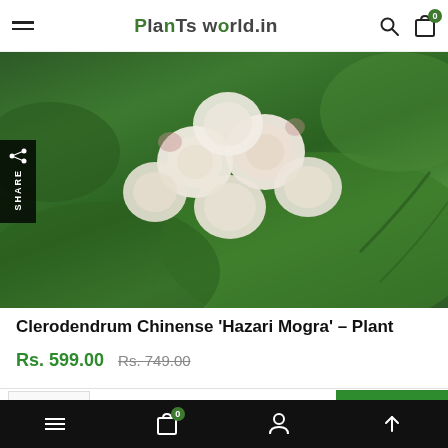PlanTs world.in
[Figure (photo): Close-up photo of white Clerodendrum Chinense Hazari Mogra flowers with green leaves in background, with a Share button overlay on the left side]
Clerodendrum Chinense 'Hazari Mogra' – Plant
Rs. 599.00  Rs. 749.00
Hydrangea Macrophylla (Pink) – Plant  ADD TO CART
bottom navigation bar with menu, cart (0), profile, and up arrow icons